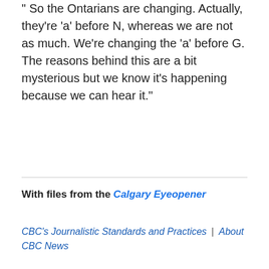" So the Ontarians are changing. Actually, they're 'a' before N, whereas we are not as much. We're changing the 'a' before G. The reasons behind this are a bit mysterious but we know it's happening because we can hear it."
With files from the Calgary Eyeopener
CBC's Journalistic Standards and Practices | About CBC News
Corrections and clarifications | Submit a news tip | Report error ▾
RELATED STORIES